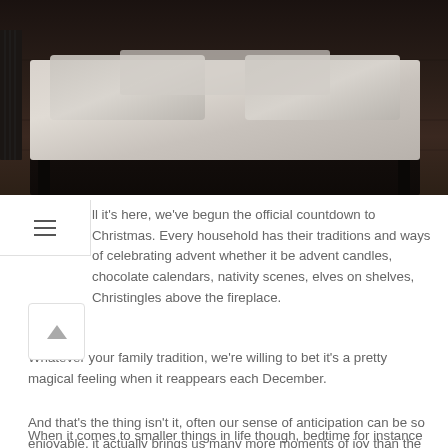[Figure (photo): Photo of a bed with dark frame and light patterned bedding on a dark wooden floor]
ll it's here, we've begun the official countdown to Christmas. Every household has their traditions and ways of celebrating advent whether it be advent candles, chocolate calendars, nativity scenes, elves on shelves, Christingles above the fireplace.
Whatever your family tradition, we're willing to bet it's a pretty magical feeling when it reappears each December.
And that's the thing isn't it, often our sense of anticipation can be so enjoyable, it actually brings us many more moments of joy than the thing we're expectantly and excitedly awaiting. Sometimes decorating the tree with Christmas tunes blasting and that first seasonal taste of mince pies is more enjoyable than the chaotic hubbub of the 25th itself. This can be true of Christmastime in the same way it can be true of holidays and other big occasions in our lives.
When it comes to smaller things in life though, bedtime for instance